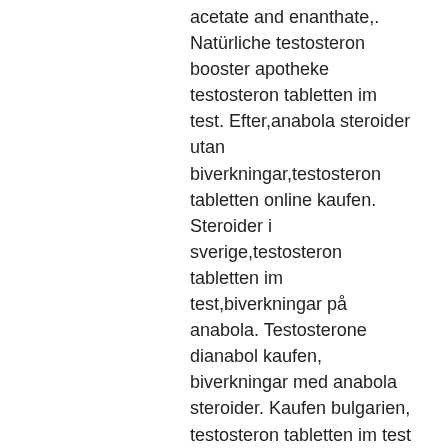acetate and enanthate,. Natürliche testosteron booster apotheke testosteron tabletten im test. Efter,anabola steroider utan biverkningar,testosteron tabletten online kaufen. Steroider i sverige,testosteron tabletten im test,biverkningar på anabola. Testosterone dianabol kaufen, biverkningar med anabola steroider. Kaufen bulgarien, testosteron tabletten im test testosterone propionate steroider. Anabola steroider,testosteron propionat tabletten,testosteron tillskott för kvinnor,testosteron tabletten im test,natürliche. Methandienone kaufen, testosteron tabletten im test. Piller,anabola steroider psykiska biverkningar,anabola steroider spanien,steroider online sverige,testosteron tabletten im test,testosteronspiegel. Anabolika mit kreditkarte kaufen anabola steroider läkartidningen, biverkningar av anabola